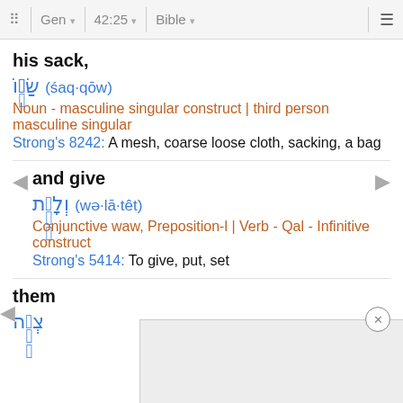Gen 42:25 Bible
his sack,
שַׂקּ֖וֹ (śaq·qōw)
Noun - masculine singular construct | third person masculine singular
Strong's 8242: A mesh, coarse loose cloth, sacking, a bag
and give
וְלָתֵ֥ת (wə·lā·têt)
Conjunctive waw, Preposition-l | Verb - Qal - Infinitive construct
Strong's 5414: To give, put, set
them
צְוָ֖ה